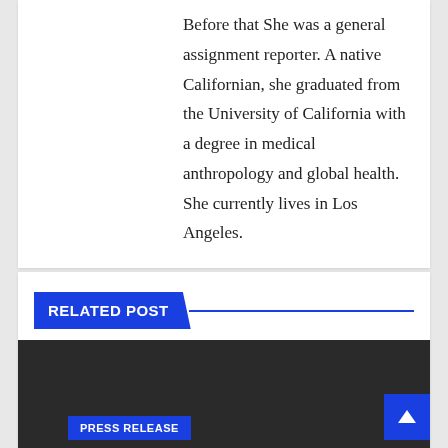Before that She was a general assignment reporter. A native Californian, she graduated from the University of California with a degree in medical anthropology and global health. She currently lives in Los Angeles.
RELATED POST
[Figure (other): Dark image area with a blue 'PRESS RELEASE' badge label at the bottom left, and a blue scroll-to-top button at the bottom right]